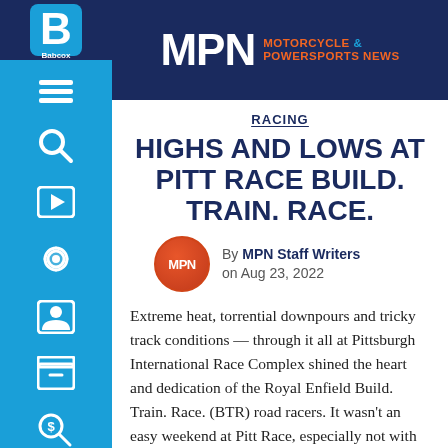MPN MOTORCYCLE & POWERSPORTS NEWS
RACING
HIGHS AND LOWS AT PITT RACE BUILD. TRAIN. RACE.
By MPN Staff Writers on Aug 23, 2022
Extreme heat, torrential downpours and tricky track conditions — through it all at Pittsburgh International Race Complex shined the heart and dedication of the Royal Enfield Build. Train. Race. (BTR) road racers. It wasn't an easy weekend at Pitt Race, especially not with the much-anticipated Sunday main event ending in a red